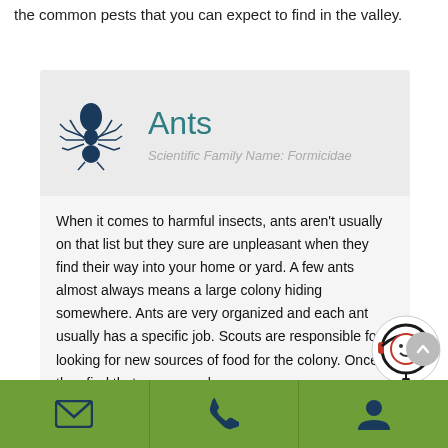the common pests that you can expect to find in the valley.
Ants
Scientific Family Name: Formicidae
When it comes to harmful insects, ants aren't usually on that list but they sure are unpleasant when they find their way into your home or yard. A few ants almost always means a large colony hiding somewhere. Ants are very organized and each ant usually has a specific job. Scouts are responsible for looking for new sources of food for the colony. Once they find that source such as
[Figure (illustration): Ant silhouette icon in dark navy blue]
[Figure (illustration): Customer support chat overlay icon with smiley face]
Email | Phone | Account icons in green footer bar